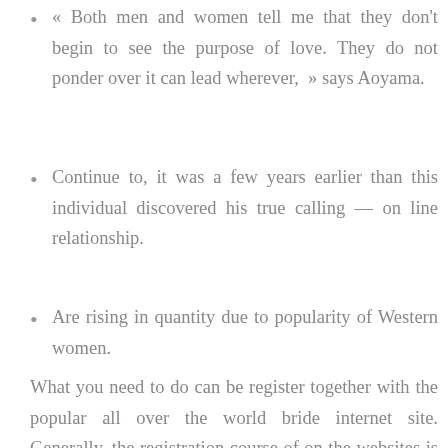« Both men and women tell me that they don't begin to see the purpose of love. They do not ponder over it can lead wherever,  » says Aoyama.
Continue to, it was a few years earlier than this individual discovered his true calling — on line relationship.
Are rising in quantity due to popularity of Western women.
What you need to do can be register together with the popular all over the world bride internet site. Generally, the registration course of on the websites is totally free. There you will find a way to connect with hundrods of solo Japanose